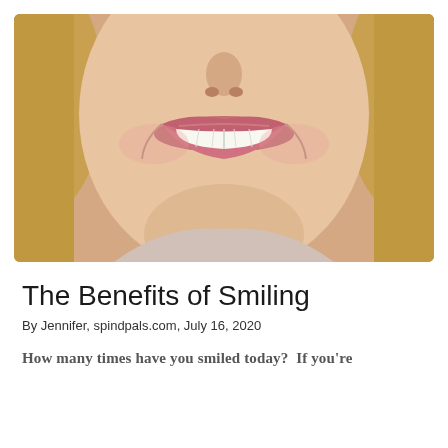[Figure (photo): Close-up photo of a smiling woman with blonde hair and pink/red lips, showing white teeth. The photo is cropped to show the lower half of the face and upper neck/shoulders.]
The Benefits of Smiling
By Jennifer, spindpals.com, July 16, 2020
How many times have you smiled today?  If you're